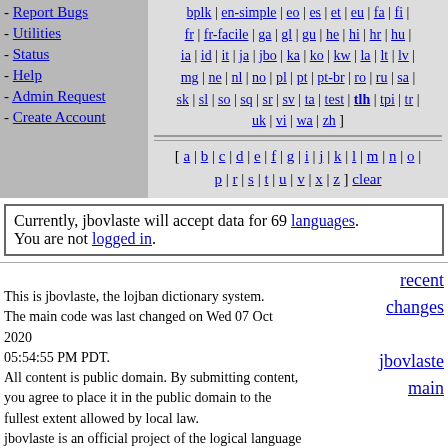Report Bugs
Utilities
Status
Help
Admin Request
Create Account
bplk | en-simple | eo | es | et | eu | fa | fi | fr | fr-facile | ga | gl | gu | he | hi | hr | hu | ia | id | it | ja | jbo | ka | ko | kw | la | lt | lv | mg | ne | nl | no | pl | pt | pt-br | ro | ru | sa | sk | sl | so | sq | sr | sv | ta | test | tlh | tpi | tr | uk | vi | wa | zh
[ a | b | c | d | e | f | g | i | j | k | l | m | n | o | p | r | s | t | u | v | x | z ] clear
Currently, jbovlaste will accept data for 69 languages. You are not logged in.
recent changes
jbovlaste main
This is jbovlaste, the lojban dictionary system. The main code was last changed on Wed 07 Oct 2020 05:54:55 PM PDT. All content is public domain. By submitting content, you agree to place it in the public domain to the fullest extent allowed by local law. jbovlaste is an official project of the logical language group, and is now headed by Robin Lee Powell. E-mail him if you have any questions.
care to log in?